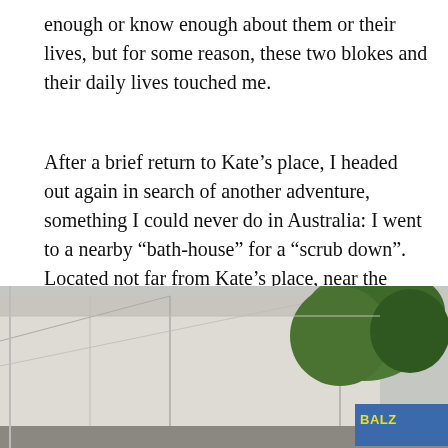enough or know enough about them or their lives, but for some reason, these two blokes and their daily lives touched me.
After a brief return to Kate’s place, I headed out again in search of another adventure, something I could never do in Australia: I went to a nearby “bath-house” for a “scrub down”. Located not far from Kate’s place, near the KFC, there’s a hotel-like facility where you can go, have something to eat, watch tv, have a massage (no happy endings) and receive a dam good scrubbing.
[Figure (photo): Street-level photograph showing a building exterior with a large canopy/awning structure on the left, trees with green foliage on the right, and a blue building or signage element visible at the bottom right corner.]